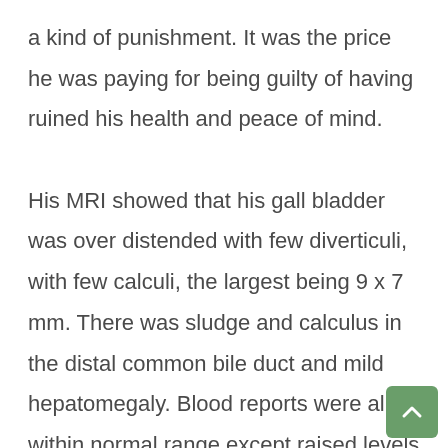a kind of punishment. It was the price he was paying for being guilty of having ruined his health and peace of mind.

His MRI showed that his gall bladder was over distended with few diverticuli, with few calculi, the largest being 9 x 7 mm. There was sludge and calculus in the distal common bile duct and mild hepatomegaly. Blood reports were all within normal range except raised levels of lipoprotein,